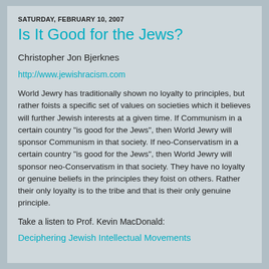SATURDAY, FEBRUARY 10, 2007
Is It Good for the Jews?
Christopher Jon Bjerknes
http://www.jewishracism.com
World Jewry has traditionally shown no loyalty to principles, but rather foists a specific set of values on societies which it believes will further Jewish interests at a given time. If Communism in a certain country "is good for the Jews", then World Jewry will sponsor Communism in that society. If neo-Conservatism in a certain country "is good for the Jews", then World Jewry will sponsor neo-Conservatism in that society. They have no loyalty or genuine beliefs in the principles they foist on others. Rather their only loyalty is to the tribe and that is their only genuine principle.
Take a listen to Prof. Kevin MacDonald:
Deciphering Jewish Intellectual Movements